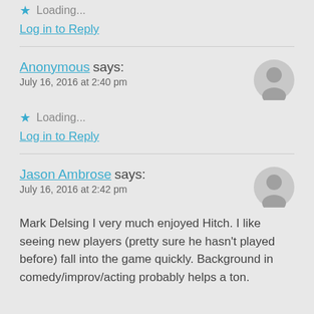Loading...
Log in to Reply
Anonymous says:
July 16, 2016 at 2:40 pm
Loading...
Log in to Reply
Jason Ambrose says:
July 16, 2016 at 2:42 pm
Mark Delsing I very much enjoyed Hitch. I like seeing new players (pretty sure he hasn't played before) fall into the game quickly. Background in comedy/improv/acting probably helps a ton.